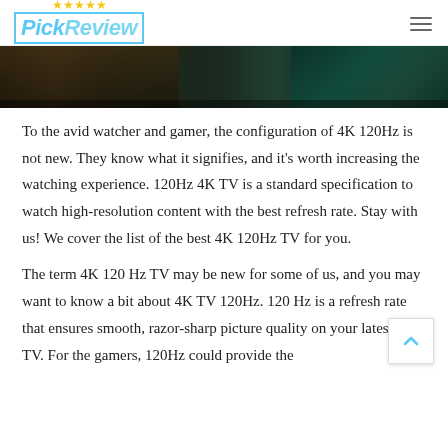PickReview
[Figure (photo): A dark photograph showing what appears to be a room with furniture, dark background with teal/green tones on the right side.]
To the avid watcher and gamer, the configuration of 4K 120Hz is not new. They know what it signifies, and it's worth increasing the watching experience. 120Hz 4K TV is a standard specification to watch high-resolution content with the best refresh rate. Stay with us! We cover the list of the best 4K 120Hz TV for you.
The term 4K 120 Hz TV may be new for some of us, and you may want to know a bit about 4K TV 120Hz. 120 Hz is a refresh rate that ensures smooth, razor-sharp picture quality on your latest LED TV. For the gamers, 120Hz could provide the